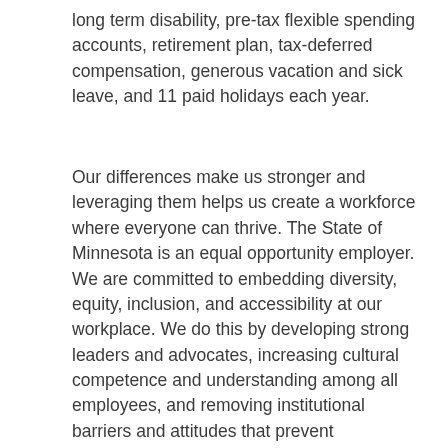long term disability, pre-tax flexible spending accounts, retirement plan, tax-deferred compensation, generous vacation and sick leave, and 11 paid holidays each year.
Our differences make us stronger and leveraging them helps us create a workforce where everyone can thrive. The State of Minnesota is an equal opportunity employer. We are committed to embedding diversity, equity, inclusion, and accessibility at our workplace. We do this by developing strong leaders and advocates, increasing cultural competence and understanding among all employees, and removing institutional barriers and attitudes that prevent employees from advancing as far as their talents will take them. We prohibit discrimination and harassment of any kind based on race, color, creed, religion, national origin, sex (including pregnancy, childbirth and related medical conditions), marital status, familial status, receipt of public assistance, membership or activity in a local human rights commission, disability, genetic information, sexual orientation, gender expression, gender identity, or age.